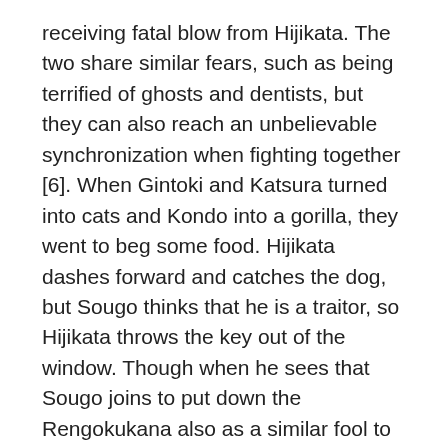receiving fatal blow from Hijikata. The two share similar fears, such as being terrified of ghosts and dentists, but they can also reach an unbelievable synchronization when fighting together [6]. When Gintoki and Katsura turned into cats and Kondo into a gorilla, they went to beg some food. Hijikata dashes forward and catches the dog, but Sougo thinks that he is a traitor, so Hijikata throws the key out of the window. Though when he sees that Sougo joins to put down the Rengokukana also as a similar fool to Gintoki he reluctantly joins also. When he departed for Hino, ICHIMURA realized that someone was standing by a window. Toshirou later became a student to the Dojo and an underclassman to Sougo, who disliked Toshirou due to his jealousy of the latter receiving an unfair amount of attention from Kondou and Mitsuba. Hijikata Toshizō is on Facebook. Toushirou was born after his father died. Two years after the war,